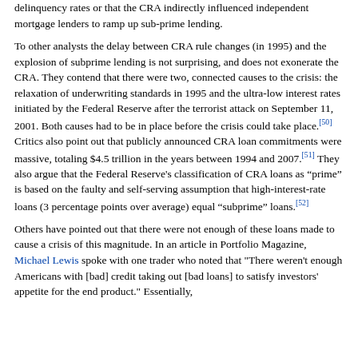delinquency rates or that the CRA indirectly influenced independent mortgage lenders to ramp up sub-prime lending.
To other analysts the delay between CRA rule changes (in 1995) and the explosion of subprime lending is not surprising, and does not exonerate the CRA. They contend that there were two, connected causes to the crisis: the relaxation of underwriting standards in 1995 and the ultra-low interest rates initiated by the Federal Reserve after the terrorist attack on September 11, 2001. Both causes had to be in place before the crisis could take place.[50] Critics also point out that publicly announced CRA loan commitments were massive, totaling $4.5 trillion in the years between 1994 and 2007.[51] They also argue that the Federal Reserve's classification of CRA loans as “prime” is based on the faulty and self-serving assumption that high-interest-rate loans (3 percentage points over average) equal “subprime” loans.[52]
Others have pointed out that there were not enough of these loans made to cause a crisis of this magnitude. In an article in Portfolio Magazine, Michael Lewis spoke with one trader who noted that "There weren't enough Americans with [bad] credit taking out [bad loans] to satisfy investors' appetite for the end product." Essentially,